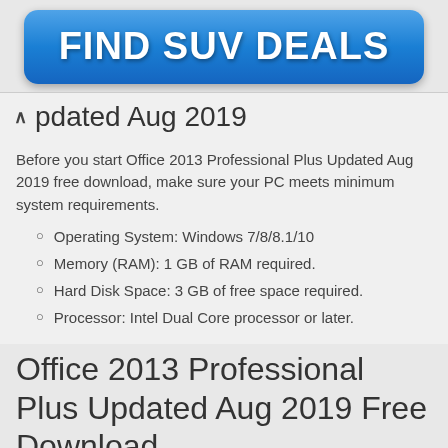[Figure (other): Blue button-style advertisement banner with white bold text reading FIND SUV DEALS]
↑ Updated Aug 2019
Before you start Office 2013 Professional Plus Updated Aug 2019 free download, make sure your PC meets minimum system requirements.
Operating System: Windows 7/8/8.1/10
Memory (RAM): 1 GB of RAM required.
Hard Disk Space: 3 GB of free space required.
Processor: Intel Dual Core processor or later.
Office 2013 Professional Plus Updated Aug 2019 Free Download